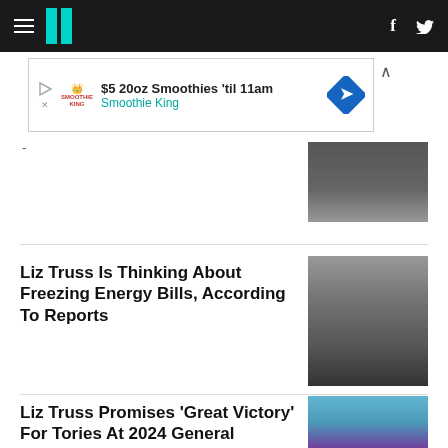HuffPost navigation with hamburger menu, logo, Facebook and Twitter icons
[Figure (screenshot): Advertisement banner: $5 20oz Smoothies 'til 11am - Smoothie King]
[Figure (photo): Partial photo of a person in dark suit with tie]
Liz Truss Is Thinking About Freezing Energy Bills, According To Reports
[Figure (photo): Photo of Liz Truss walking outdoors in black outfit]
Liz Truss Promises 'Great Victory' For Tories At 2024 General Election
[Figure (photo): Photo of Liz Truss speaking at podium wearing purple jacket]